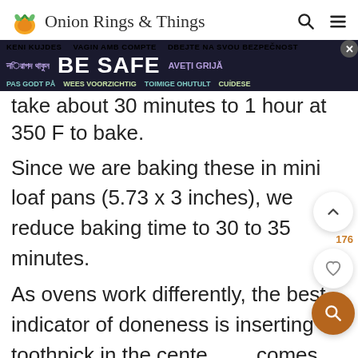Onion Rings & Things
[Figure (screenshot): Ad banner overlay with multilingual 'BE SAFE' message in dark blue/purple background]
take about 30 minutes to 1 hour at 350 F to bake.
Since we are baking these in mini loaf pans (5.73 x 3 inches), we reduce baking time to 30 to 35 minutes.
As ovens work differently, the best indicator of doneness is inserting a toothpick in the center comes out clean, the bread is ready.
Did you make this? Be sure to leave a review below and tag me @OnionRingsAndThings on Facebook and Instagram!